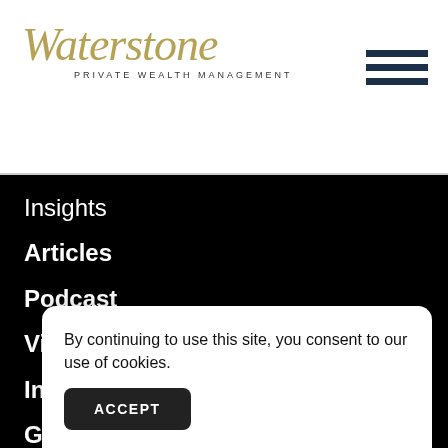[Figure (logo): Waterstone Private Wealth Management logo with italic serif gold lettering and small-caps subtitle]
[Figure (other): Hamburger menu icon with three dark navy horizontal bars]
Insights
Articles
Podcast
Videos
In the News
Guides
Gl…
By continuing to use this site, you consent to our use of cookies.
ACCEPT